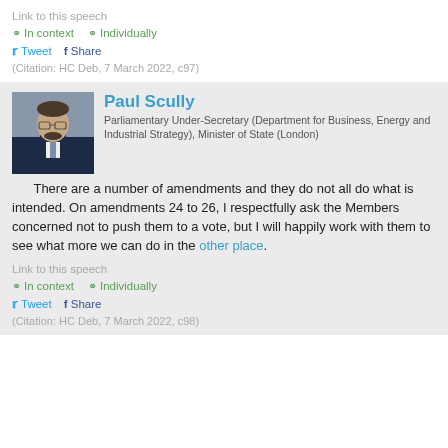Link to this speech
In context  Individually
Tweet  Share
(Citation: HC Deb, 7 March 2022, c97)
Paul Scully
Parliamentary Under-Secretary (Department for Business, Energy and Industrial Strategy), Minister of State (London)
There are a number of amendments and they do not all do what is intended. On amendments 24 to 26, I respectfully ask the Members concerned not to push them to a vote, but I will happily work with them to see what more we can do in the other place.
Link to this speech
In context  Individually
Tweet  Share
(Citation: HC Deb, 7 March 2022, c98)